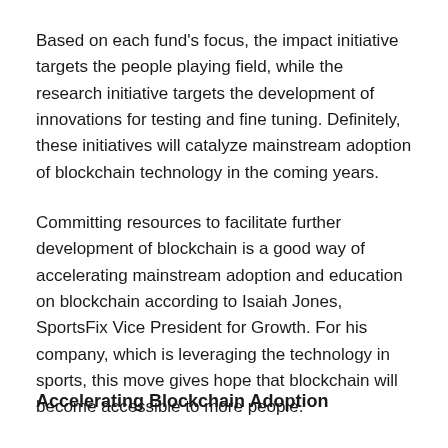Based on each fund's focus, the impact initiative targets the people playing field, while the research initiative targets the development of innovations for testing and fine tuning. Definitely, these initiatives will catalyze mainstream adoption of blockchain technology in the coming years.
Committing resources to facilitate further development of blockchain is a good way of accelerating mainstream adoption and education on blockchain according to Isaiah Jones, SportsFix Vice President for Growth. For his company, which is leveraging the technology in sports, this move gives hope that blockchain will become accessible to more people.
Accelerating Blockchain Adoption